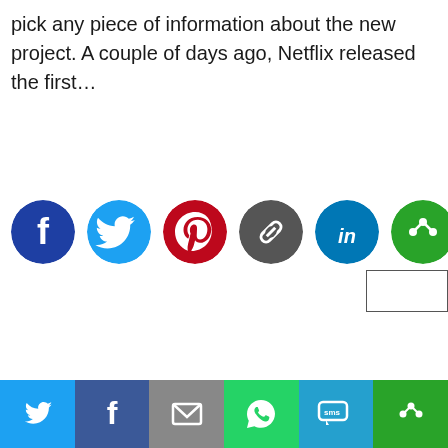pick any piece of information about the new project. A couple of days ago, Netflix released the first…
[Figure (infographic): Row of six circular social media share buttons: Facebook (dark blue), Twitter (light blue), Pinterest (red), Link/Copy (dark grey), LinkedIn (blue), More/Share (green)]
[Figure (infographic): Bottom share bar with six buttons: Twitter (light blue), Facebook (dark blue), Email (grey), WhatsApp (green), SMS (light blue), More (green)]